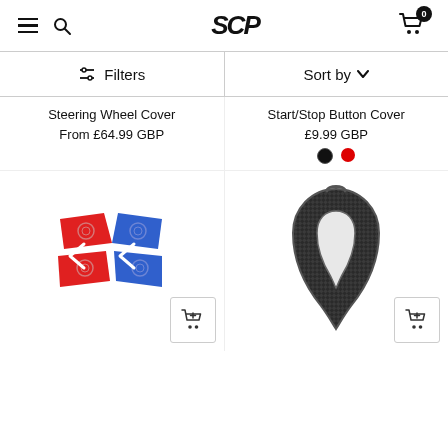SCP — Navigation header with hamburger menu, search, logo, and cart (0 items)
Filters | Sort by
Steering Wheel Cover
From £64.99 GBP
Start/Stop Button Cover
£9.99 GBP
[Figure (photo): Red and blue paddle shifter covers for steering wheel]
[Figure (photo): Carbon fibre gear shift knob cover]